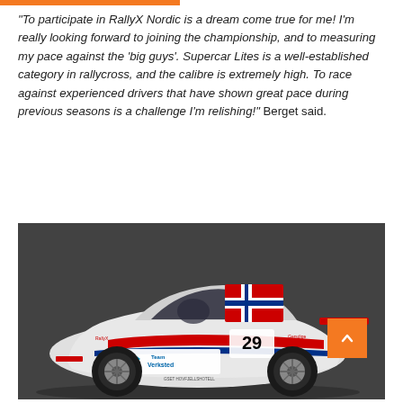“To participate in RallyX Nordic is a dream come true for me! I’m really looking forward to joining the championship, and to measuring my pace against the ‘big guys’. Supercar Lites is a well-established category in rallycross, and the calibre is extremely high. To race against experienced drivers that have shown great pace during previous seasons is a challenge I’m relishing!” Berget said.
[Figure (photo): Rally car number 29 with Norwegian flag livery, Team Verksted branding, parked on circuit asphalt]